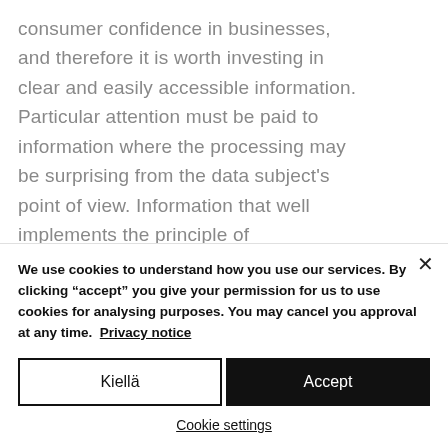consumer confidence in businesses, and therefore it is worth investing in clear and easily accessible information. Particular attention must be paid to information where the processing may be surprising from the data subject's point of view. Information that well implements the principle of transparency can have a significant impact on consumer confidence.
We use cookies to understand how you use our services. By clicking “accept” you give your permission for us to use cookies for analysing purposes. You may cancel you approval at any time. Privacy notice
Kiellä
Accept
Cookie settings